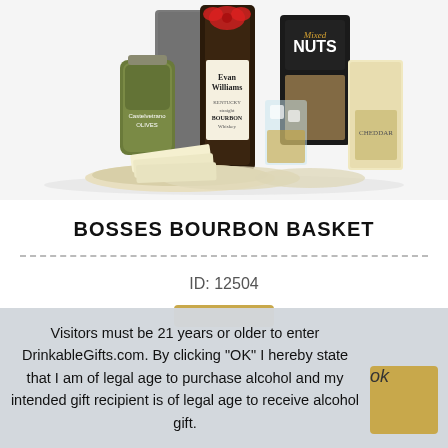[Figure (photo): Product photo showing a gift basket with Evan Williams Kentucky Bourbon bottle, jar of olives, Mixed Nuts bag, cheese block, crackers, and a whiskey glass with ice.]
BOSSES BOURBON BASKET
ID: 12504
Visitors must be 21 years or older to enter DrinkableGifts.com. By clicking "OK" I hereby state that I am of legal age to purchase alcohol and my intended gift recipient is of legal age to receive alcohol gift.